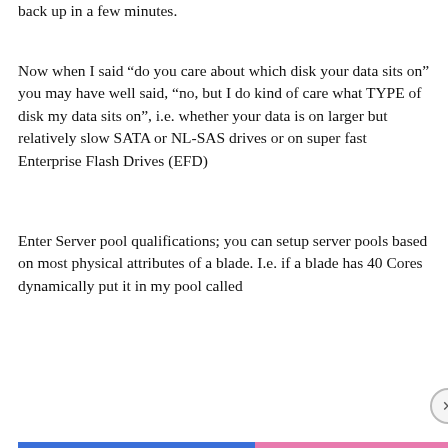back up in a few minutes.
Now when I said “do you care about which disk your data sits on” you may have well said, “no, but I do kind of care what TYPE of disk my data sits on”, i.e. whether your data is on larger but relatively slow SATA or NL-SAS drives or on super fast Enterprise Flash Drives (EFD)
Enter Server pool qualifications; you can setup server pools based on most physical attributes of a blade. I.e. if a blade has 40 Cores dynamically put it in my pool called
Privacy & Cookies: This site uses cookies. By continuing to use this website, you agree to their use.
To find out more, including how to control cookies, see here: Cookie Policy
Close and accept